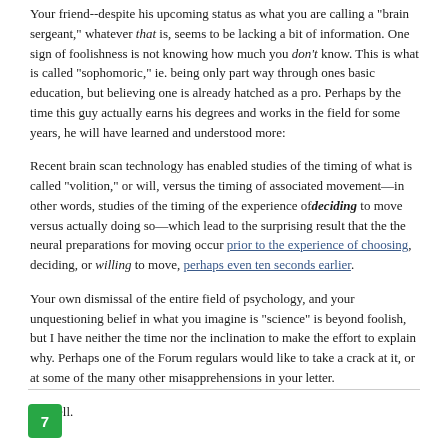Your friend--despite his upcoming status as what you are calling a "brain sergeant," whatever that is, seems to be lacking a bit of information. One sign of foolishness is not knowing how much you don't know. This is what is called "sophomoric," ie. being only part way through ones basic education, but believing one is already hatched as a pro. Perhaps by the time this guy actually earns his degrees and works in the field for some years, he will have learned and understood more:
Recent brain scan technology has enabled studies of the timing of what is called "volition," or will, versus the timing of associated movement—in other words, studies of the timing of the experience of deciding to move versus actually doing so—which lead to the surprising result that the the neural preparations for moving occur prior to the experience of choosing, deciding, or willing to move, perhaps even ten seconds earlier.
Your own dismissal of the entire field of psychology, and your unquestioning belief in what you imagine is "science" is beyond foolish, but I have neither the time nor the inclination to make the effort to explain why. Perhaps one of the Forum regulars would like to take a crack at it, or at some of the many other misapprehensions in your letter.
Be well.
7